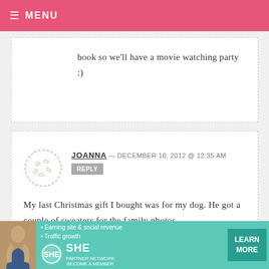MENU
book so we'll have a movie watching party :)
JOANNA — DECEMBER 10, 2012 @ 12:35 AM
REPLY
My last Christmas gift I bought was for my dog. He got a couple of sweaters for the family photos.
[Figure (other): SHE partner network advertisement banner with photo of woman, bullet points about earning site & social revenue and traffic growth, SHE logo, and LEARN MORE button]